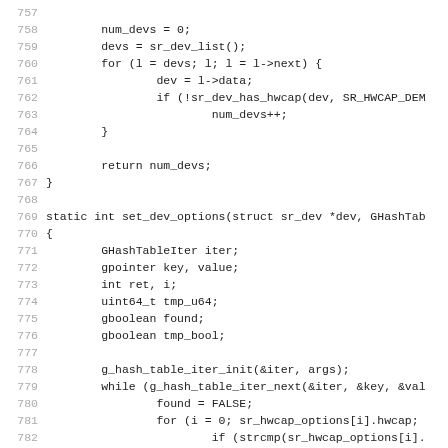[Figure (other): Source code listing (C language), lines 757–788, showing num_devs initialization, sr_dev_list loop, set_dev_options function with GHashTableIter, gpointer, int, uint64_t, gboolean declarations, g_hash_table_iter_init, while loop, found=FALSE, for loop with sr_hwcap_options, strcmp, g_critical, return SR_ERR.]